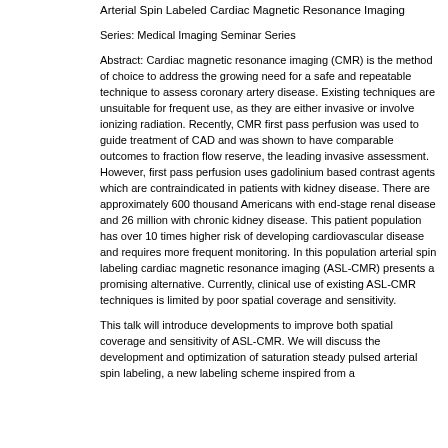Arterial Spin Labeled Cardiac Magnetic Resonance Imaging
Series: Medical Imaging Seminar Series
Abstract: Cardiac magnetic resonance imaging (CMR) is the method of choice to address the growing need for a safe and repeatable technique to assess coronary artery disease. Existing techniques are unsuitable for frequent use, as they are either invasive or involve ionizing radiation. Recently, CMR first pass perfusion was used to guide treatment of CAD and was shown to have comparable outcomes to fraction flow reserve, the leading invasive assessment. However, first pass perfusion uses gadolinium based contrast agents which are contraindicated in patients with kidney disease. There are approximately 600 thousand Americans with end-stage renal disease and 26 million with chronic kidney disease. This patient population has over 10 times higher risk of developing cardiovascular disease and requires more frequent monitoring. In this population arterial spin labeling cardiac magnetic resonance imaging (ASL-CMR) presents a promising alternative. Currently, clinical use of existing ASL-CMR techniques is limited by poor spatial coverage and sensitivity.
This talk will introduce developments to improve both spatial coverage and sensitivity of ASL-CMR. We will discuss the development and optimization of saturation steady pulsed arterial spin labeling, a new labeling scheme inspired from a